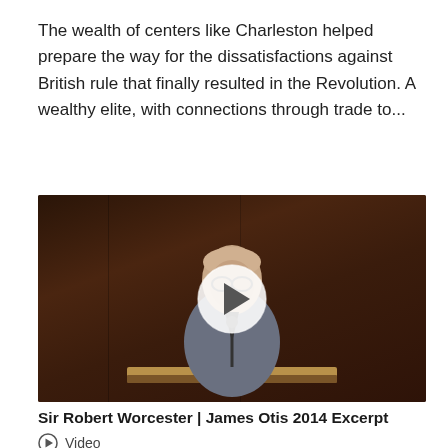The wealth of centers like Charleston helped prepare the way for the dissatisfactions against British rule that finally resulted in the Revolution. A wealthy elite, with connections through trade to...
[Figure (screenshot): Video thumbnail showing a man in a grey suit speaking at a podium against a dark wooden background, with a circular play button overlay in the center.]
Sir Robert Worcester | James Otis 2014 Excerpt
Video
Sir Robert Worcester, Emeritus Chancellor of the